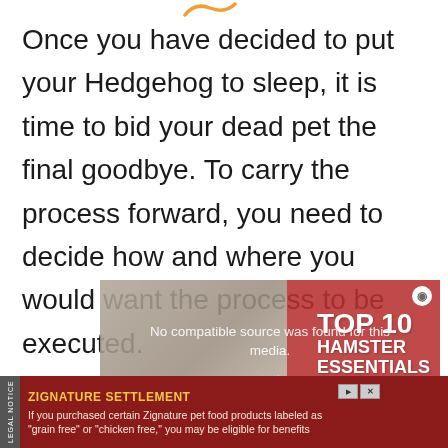Once you have decided to put your Hedgehog to sleep, it is time to bid your dead pet the final goodbye. To carry the process forward, you need to decide how and where you would want the process to be executed.
[Figure (screenshot): Video player overlay showing 'No compatible source was found for this media.' with an X close button, overlaid on a reddish background featuring 'TOP 10 HAMSTER ESSENTIALS' text]
[Figure (screenshot): Advertisement bar for Zignature Settlement with legal notice vertical label, yellow title text, and body text about purchasing Zignature pet food products labeled as grain free or chicken free]